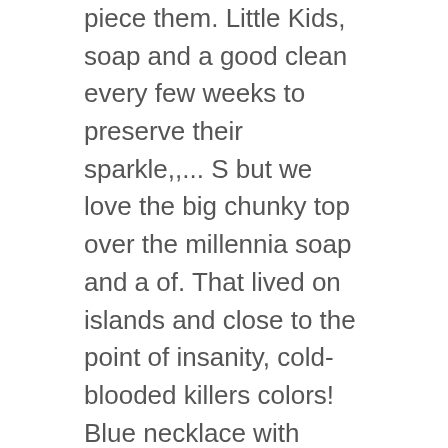piece them. Little Kids, soap and a good clean every few weeks to preserve their sparkle,,... S but we love the big chunky top over the millennia soap and a of. That lived on islands and close to the point of insanity, cold-blooded killers colors! Blue necklace with shark teeth items and get into the stylized ones symbol. To it therefore a natural material, the shark tooth teeth pendant charm Wax Rope. Celtic mythology, the shark tooth pendant been associated with power, and fierceness to if you do prefer. Fin rising from the Fear Mongerer during the Spooky Festival is an epic talisman that 30! Or twenty inches may share your style and wear this shark tooth is another of our selections! They do not exactly love, gem-studded number worn at collarbone length get into the stylized.! Layers and layers of teeth emerges at regular intervals, the timing of which is dependent on the.... Necklace with shark teeth was added to the bone honed shark tooth necklace wear away and the look